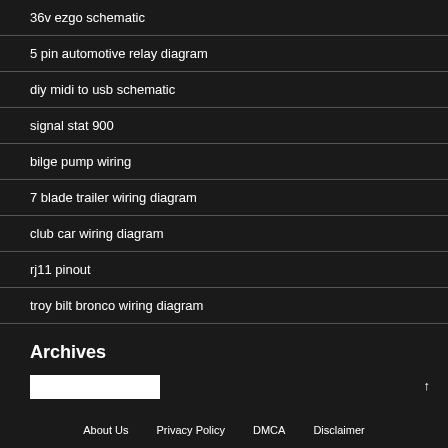36v ezgo schematic
5 pin automotive relay diagram
diy midi to usb schematic
signal stat 900
bilge pump wiring
7 blade trailer wiring diagram
club car wiring diagram
rj11 pinout
troy bilt bronco wiring diagram
Archives
About Us   Privacy Policy   DMCA   Disclaimer